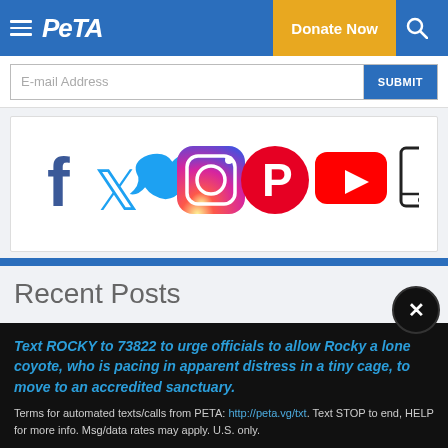PETA | Donate Now
[Figure (screenshot): Email address input field with SUBMIT button]
[Figure (infographic): Social media icons: Facebook, Twitter, Instagram, Pinterest, YouTube, Mobile/App, TikTok]
Recent Posts
Text ROCKY to 73822 to urge officials to allow Rocky a lone coyote, who is pacing in apparent distress in a tiny cage, to move to an accredited sanctuary.
Terms for automated texts/calls from PETA: http://peta.vg/txt. Text STOP to end, HELP for more info. Msg/data rates may apply. U.S. only.